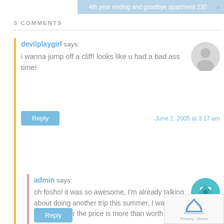4th year ending and goodbye apartment 230 »
5 COMMENTS
devilplaygirl says:
i wanna jump off a cliff! looks like u had a bad ass time!
Reply    June 2, 2005 at 3:17 am
admin says:
oh fosho! it was so awesome, I'm already talking about doing another trip this summer, I wanna go again and for the price is more than worth it!!
Reply    June 2, 2005 at